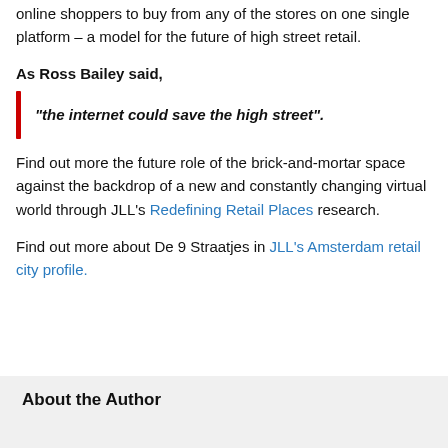online shoppers to buy from any of the stores on one single platform – a model for the future of high street retail.
As Ross Bailey said,
“the internet could save the high street”.
Find out more the future role of the brick-and-mortar space against the backdrop of a new and constantly changing virtual world through JLL’s Redefining Retail Places research.
Find out more about De 9 Straatjes in JLL’s Amsterdam retail city profile.
About the Author